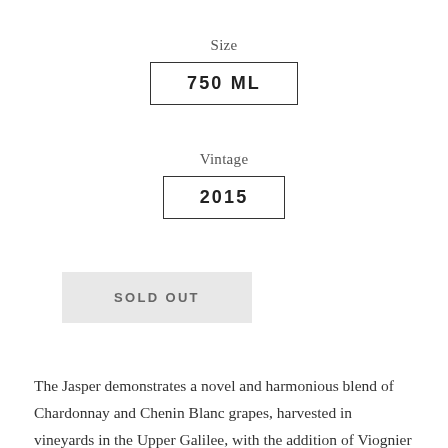Size
750ML
Vintage
2015
SOLD OUT
The Jasper demonstrates a novel and harmonious blend of Chardonnay and Chenin Blanc grapes, harvested in vineyards in the Upper Galilee, with the addition of Viognier grapes originating in a tiny but superb vineyard located in the area...